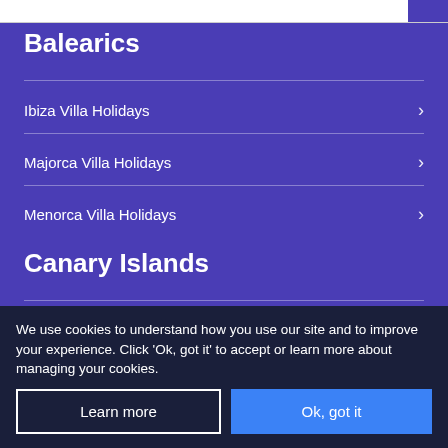Balearics
Ibiza Villa Holidays
Majorca Villa Holidays
Menorca Villa Holidays
Canary Islands
Fuerteventura Villa Holidays
We use cookies to understand how you use our site and to improve your experience. Click 'Ok, got it' to accept or learn more about managing your cookies.
Learn more
Ok, got it